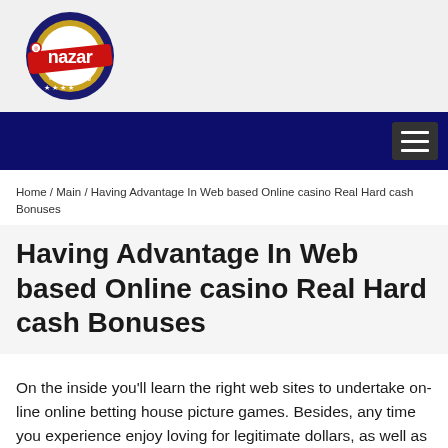[Figure (logo): Nazar Kebab Manufacturing circular logo with red and dark blue colors, featuring stylized 'nazar' text in red and 'kebab' and 'manufacturing' text in smaller fonts]
Navigation bar with hamburger menu icon
Home / Main / Having Advantage In Web based Online casino Real Hard cash Bonuses
Having Advantage In Web based Online casino Real Hard cash Bonuses
On the inside you'll learn the right web sites to undertake on-line online betting house picture games. Besides, any time you experience enjoy loving for legitimate dollars, as well as making